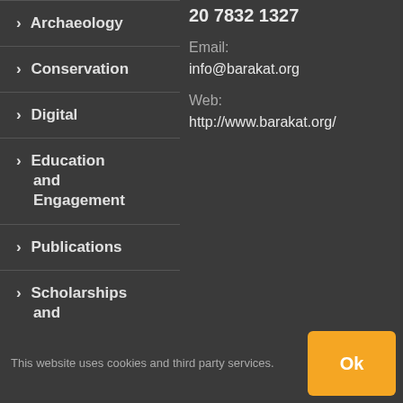20 7832 1327
Email:
info@barakat.org
Web:
http://www.barakat.org/
> Archaeology
> Conservation
> Digital
> Education and Engagement
> Publications
> Scholarships and research
This website uses cookies and third party services.